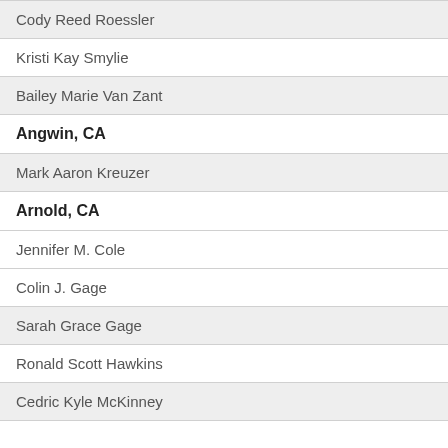Cody Reed Roessler
Kristi Kay Smylie
Bailey Marie Van Zant
Angwin, CA
Mark Aaron Kreuzer
Arnold, CA
Jennifer M. Cole
Colin J. Gage
Sarah Grace Gage
Ronald Scott Hawkins
Cedric Kyle McKinney